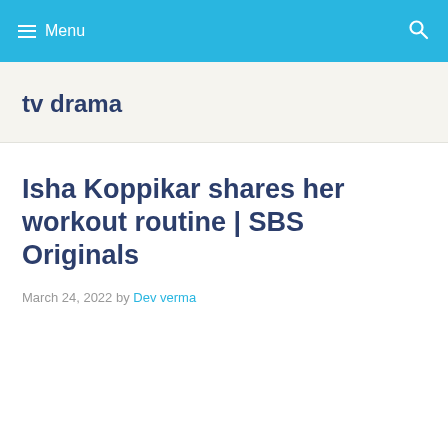Menu
tv drama
Isha Koppikar shares her workout routine | SBS Originals
March 24, 2022 by Dev verma